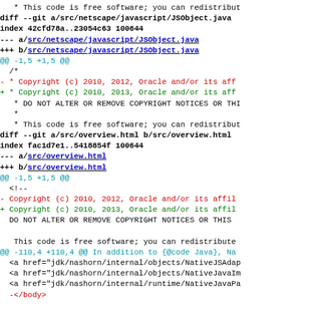* This code is free software; you can redistribut
diff --git a/src/netscape/javascript/JSObject.java
index 42cfd78a..23054c63 100644
--- a/src/netscape/javascript/JSObject.java
+++ b/src/netscape/javascript/JSObject.java
@@ -1,5 +1,5 @@
  /*
- * Copyright (c) 2010, 2012, Oracle and/or its aff
+ * Copyright (c) 2010, 2013, Oracle and/or its aff
   * DO NOT ALTER OR REMOVE COPYRIGHT NOTICES OR THI
   *
   * This code is free software; you can redistribut
diff --git a/src/overview.html b/src/overview.html
index fac1d7e1..5418854f 100644
--- a/src/overview.html
+++ b/src/overview.html
@@ -1,5 +1,5 @@
  <!--
- Copyright (c) 2010, 2012, Oracle and/or its affil
+ Copyright (c) 2010, 2013, Oracle and/or its affil
  DO NOT ALTER OR REMOVE COPYRIGHT NOTICES OR THIS

   This code is free software; you can redistribute
@@ -110,4 +110,4 @@ In addition to {@code Java}, Na
  <a href="jdk/nashorn/internal/objects/NativeJSAdap
  <a href="jdk/nashorn/internal/objects/NativeJavaIm
  <a href="jdk/nashorn/internal/runtime/NativeJavaPa
  -</body>